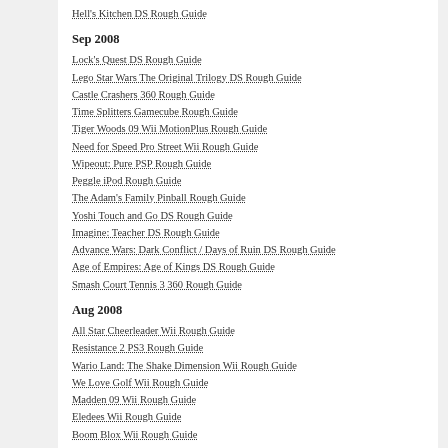Hell's Kitchen DS Rough Guide
Sep 2008
Lock's Quest DS Rough Guide
Lego Star Wars The Original Trilogy DS Rough Guide
Castle Crashers 360 Rough Guide
Time Splitters Gamecube Rough Guide
Tiger Woods 09 Wii MotionPlus Rough Guide
Need for Speed Pro Street Wii Rough Guide
Wipeout: Pure PSP Rough Guide
Peggle iPod Rough Guide
The Adam's Family Pinball Rough Guide
Yoshi Touch and Go DS Rough Guide
Imagine: Teacher DS Rough Guide
Advance Wars: Dark Conflict / Days of Ruin DS Rough Guide
Age of Empires: Age of Kings DS Rough Guide
Smash Court Tennis 3 360 Rough Guide
Aug 2008
All Star Cheerleader Wii Rough Guide
Resistance 2 PS3 Rough Guide
Wario Land: The Shake Dimension Wii Rough Guide
We Love Golf Wii Rough Guide
Madden 09 Wii Rough Guide
Eledees Wii Rough Guide
Boom Blox Wii Rough Guide
Loco Roco PSP Rough Guide
Super Mario Advance: Super Mario Brothers 2 GBA Rough Guide